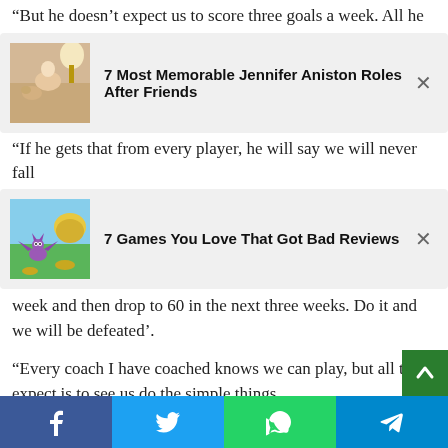“But he doesn’t expect us to score three goals a week. All he
[Figure (other): Advertisement card: thumbnail of woman with dog, titled '7 Most Memorable Jennifer Aniston Roles After Friends' with close button]
“If he gets that from every player, he will say we will never fall
[Figure (other): Advertisement card: thumbnail of Spyro the Dragon game screenshot, titled '7 Games You Love That Got Bad Reviews' with close button]
week and then drop to 60 in the next three weeks. Do it and we will be defeated’.
“Every coach I have coached knows we can play, but all they expect is to see us do the simple things.
“11v11 football. It’s not complicated, so don’t make it that way.”
Facebook | Twitter | WhatsApp | Telegram